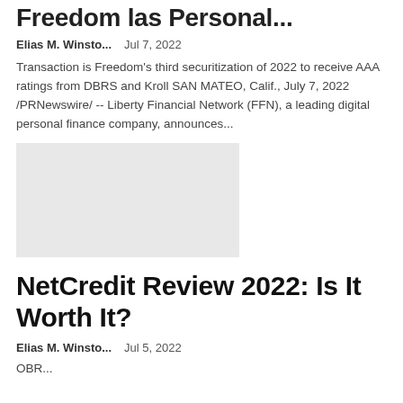Freedom las Personal...
Elias M. Winsto...   Jul 7, 2022
Transaction is Freedom's third securitization of 2022 to receive AAA ratings from DBRS and Kroll SAN MATEO, Calif., July 7, 2022 /PRNewswire/ -- Liberty Financial Network (FFN), a leading digital personal finance company, announces...
[Figure (photo): Placeholder image, light gray rectangle]
NetCredit Review 2022: Is It Worth It?
Elias M. Winsto...   Jul 5, 2022
OBR...